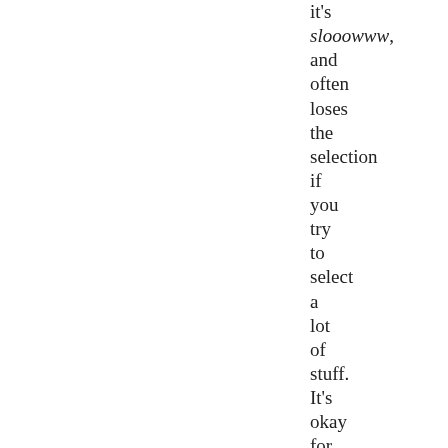it's slooowww, and often loses the selection if you try to select a lot of stuff. It's okay for short selections, but trying to select